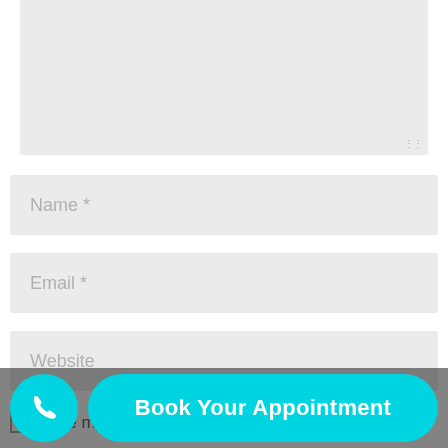[Figure (screenshot): A large grey textarea input field (comment/message box) with a resize handle at the bottom-right corner]
Name *
Email *
Website
Save my name, email, and website in this
[Figure (screenshot): Bottom action bar with a cyan circular phone button and a cyan pill-shaped 'Book Your Appointment' button]